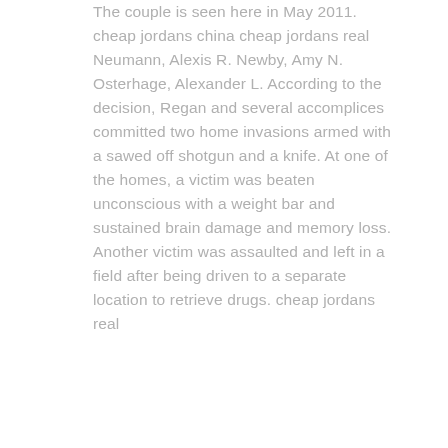The couple is seen here in May 2011. cheap jordans china cheap jordans real Neumann, Alexis R. Newby, Amy N. Osterhage, Alexander L. According to the decision, Regan and several accomplices committed two home invasions armed with a sawed off shotgun and a knife. At one of the homes, a victim was beaten unconscious with a weight bar and sustained brain damage and memory loss. Another victim was assaulted and left in a field after being driven to a separate location to retrieve drugs. cheap jordans real